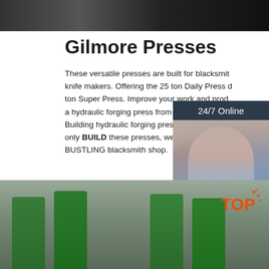[Figure (photo): Dark industrial machine photo at top of page]
Gilmore Presses
These versatile presses are built for blacksmiths and knife makers. Offering the 25 ton Daily Press and 50 ton Super Press. Improve your work and productivity with a hydraulic forging press from gilmorepresses. Building hydraulic forging presses since 2006. Not only BUILD these presses, we USE them DAILY in our BUSTLING blacksmith shop.
[Figure (photo): 24/7 Online customer service representative chat widget with woman wearing headset]
[Figure (other): Get Price orange button]
[Figure (photo): Industrial green hydraulic presses in workshop, bottom of page, with TOP label overlay]